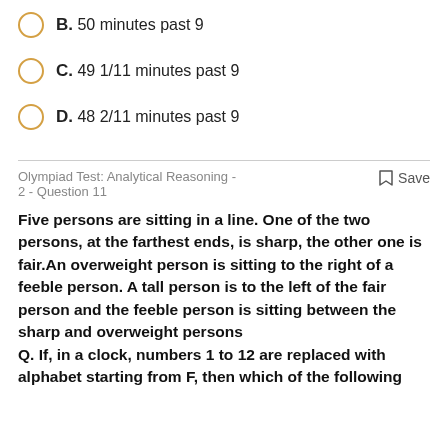B. 50 minutes past 9
C. 49 1/11 minutes past 9
D. 48 2/11 minutes past 9
Olympiad Test: Analytical Reasoning - 2 - Question 11
Five persons are sitting in a line. One of the two persons, at the farthest ends, is sharp, the other one is fair.An overweight person is sitting to the right of a feeble person. A tall person is to the left of the fair person and the feeble person is sitting between the sharp and overweight persons
Q. If, in a clock, numbers 1 to 12 are replaced with alphabet starting from F, then which of the following